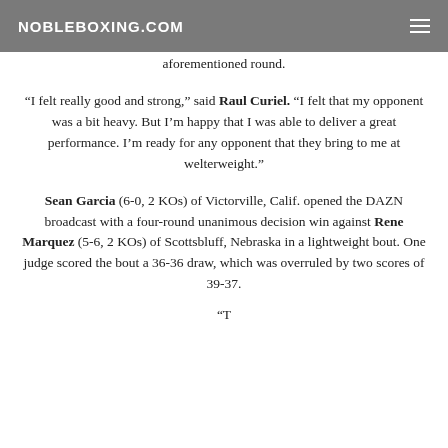NOBLEBOXING.COM
aforementioned round.
“I felt really good and strong,” said Raul Curiel. “I felt that my opponent was a bit heavy. But I’m happy that I was able to deliver a great performance. I’m ready for any opponent that they bring to me at welterweight.”
Sean Garcia (6-0, 2 KOs) of Victorville, Calif. opened the DAZN broadcast with a four-round unanimous decision win against Rene Marquez (5-6, 2 KOs) of Scottsbluff, Nebraska in a lightweight bout. One judge scored the bout a 36-36 draw, which was overruled by two scores of 39-37.
“T